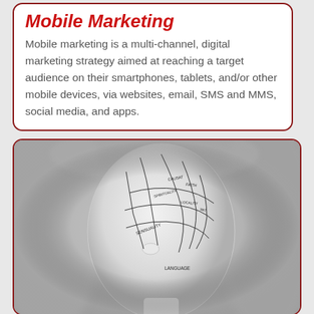Mobile Marketing
Mobile marketing is a multi-channel, digital marketing strategy aimed at reaching a target audience on their smartphones, tablets, and/or other mobile devices, via websites, email, SMS and MMS, social media, and apps.
[Figure (photo): Grayscale photograph of a white mannequin head with a phrenology map drawn on it, showing labeled brain regions including LANGUAGE, SENSUALITY, and others, with blurred background.]